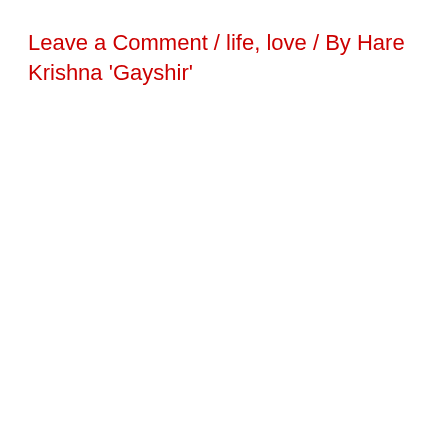Leave a Comment / life, love / By Hare Krishna 'Gayshir'